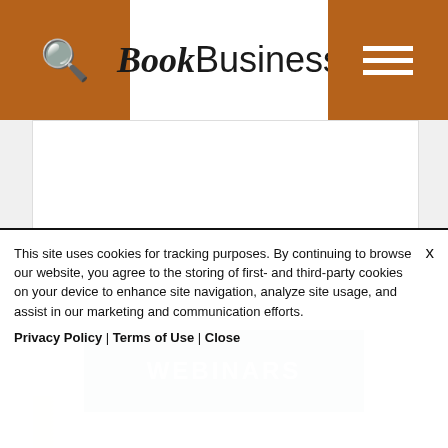BookBusiness
[Figure (screenshot): BookBusiness website screenshot showing header with search icon on left, BookBusiness logo in center, hamburger menu on right, a white content panel, WEBINARS banner in teal/slate blue, a partial image below, and a cookie consent overlay at the bottom reading: This site uses cookies for tracking purposes. By continuing to browse our website, you agree to the storing of first- and third-party cookies on your device to enhance site navigation, analyze site usage, and assist in our marketing and communication efforts. Privacy Policy | Terms of Use | Close]
This site uses cookies for tracking purposes. By continuing to browse our website, you agree to the storing of first- and third-party cookies on your device to enhance site navigation, analyze site usage, and assist in our marketing and communication efforts.
Privacy Policy | Terms of Use | Close